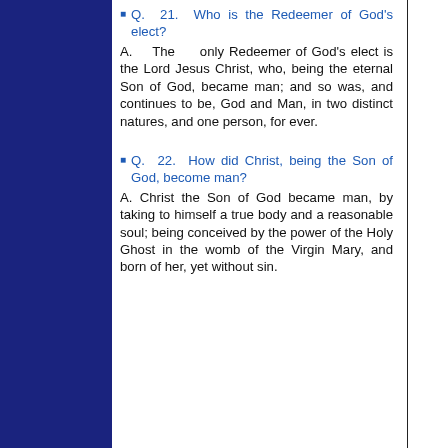Q. 21. Who is the Redeemer of God's elect?
A. The only Redeemer of God's elect is the Lord Jesus Christ, who, being the eternal Son of God, became man; and so was, and continues to be, God and Man, in two distinct natures, and one person, for ever.
Q. 22. How did Christ, being the Son of God, become man?
A. Christ the Son of God became man, by taking to himself a true body and a reasonable soul; being conceived by the power of the Holy Ghost in the womb of the Virgin Mary, and born of her, yet without sin.